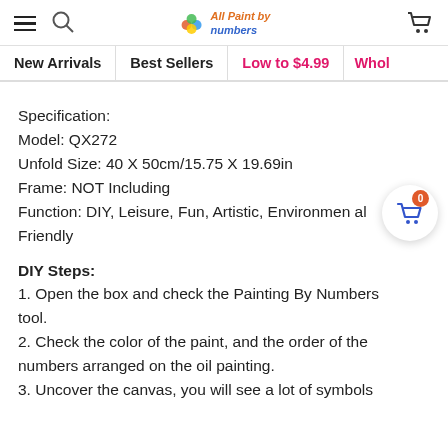All Paint by Numbers — navigation bar with hamburger menu, search, logo, and cart
New Arrivals | Best Sellers | Low to $4.99 | Whol...
Specification:
Model: QX272
Unfold Size: 40 X 50cm/15.75 X 19.69in
Frame: NOT Including
Function: DIY, Leisure, Fun, Artistic, Environmental Friendly
DIY Steps:
1. Open the box and check the Painting By Numbers tool.
2. Check the color of the paint, and the order of the numbers arranged on the oil painting.
3. Uncover the canvas, you will see a lot of symbols corresponding to the color numbers.